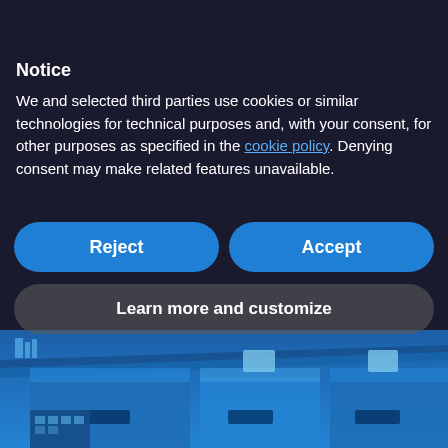PARADOX MARKETING
Notice
We and selected third parties use cookies or similar technologies for technical purposes and, with your consent, for other purposes as specified in the cookie policy. Denying consent may make related features unavailable.
Reject
Accept
Learn more and customize
[Figure (illustration): Blue industrial building illustration with three factory structures featuring chimneys and windows against a blue gradient background]